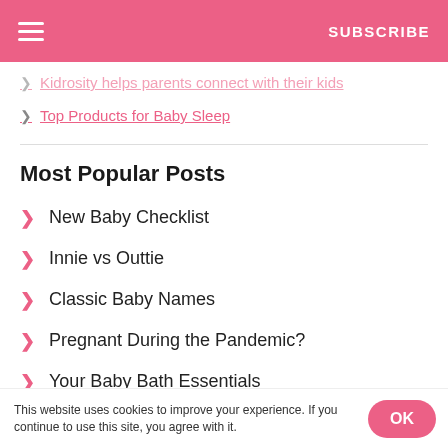SUBSCRIBE
Kidrosity helps parents connect with their kids
Top Products for Baby Sleep
Most Popular Posts
New Baby Checklist
Innie vs Outtie
Classic Baby Names
Pregnant During the Pandemic?
Your Baby Bath Essentials
Breastfeeding Pain Relief
Baby Only Wants Mom
This website uses cookies to improve your experience. If you continue to use this site, you agree with it.